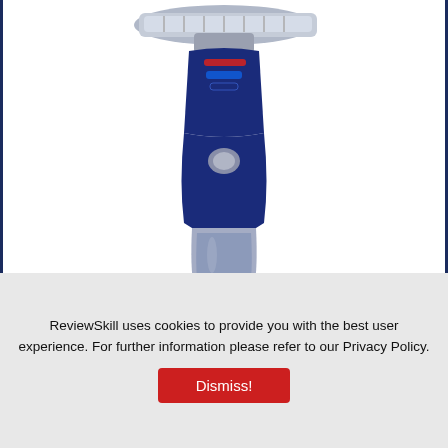[Figure (photo): Product photo of a blue handheld garment steamer with silver top plate and transparent water tank]
9.1/10 our score
Check Price At Amazon
ReviewSkill uses cookies to provide you with the best user experience. For further information please refer to our Privacy Policy.
Dismiss!